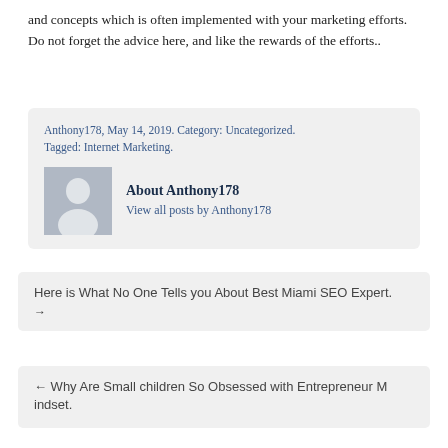and concepts which is often implemented with your marketing efforts. Do not forget the advice here, and like the rewards of the efforts..
Anthony178, May 14, 2019. Category: Uncategorized. Tagged: Internet Marketing.
[Figure (illustration): Default user avatar placeholder - grey silhouette of a person on grey background]
About Anthony178
View all posts by Anthony178
Here is What No One Tells you About Best Miami SEO Expert. →
← Why Are Small children So Obsessed with Entrepreneur Mindset.